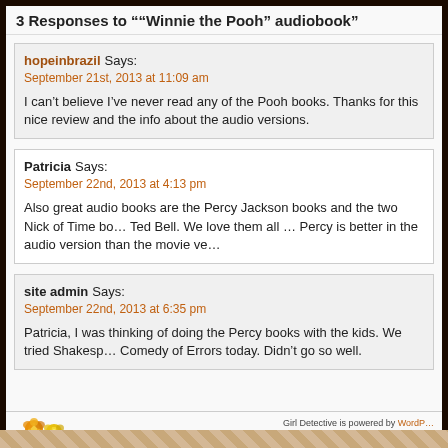3 Responses to ""Winnie the Pooh" audiobook"
hopeinbrazil Says:
September 21st, 2013 at 11:09 am

I can't believe I've never read any of the Pooh books. Thanks for this nice review and the info about the audio versions.
Patricia Says:
September 22nd, 2013 at 4:13 pm

Also great audio books are the Percy Jackson books and the two Nick of Time books by Ted Bell. We love them all … Percy is better in the audio version than the movie ve
site admin Says:
September 22nd, 2013 at 6:35 pm

Patricia, I was thinking of doing the Percy books with the kids. We tried Shakespeare's Comedy of Errors today. Didn't go so well.
Girl Detective is powered by WordP… © 2007 - Designed by Frisky Wi…